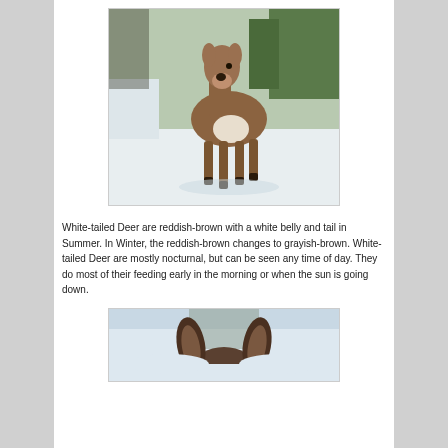[Figure (photo): A white-tailed deer standing in snow, looking toward the camera, with snow-covered ground and evergreen trees in the background.]
White-tailed Deer are reddish-brown with a white belly and tail in Summer. In Winter, the reddish-brown changes to grayish-brown. White-tailed Deer are mostly nocturnal, but can be seen any time of day. They do most of their feeding early in the morning or when the sun is going down.
[Figure (photo): Close-up of a deer's head and ears peeking up from the snow, with trees visible in the background.]